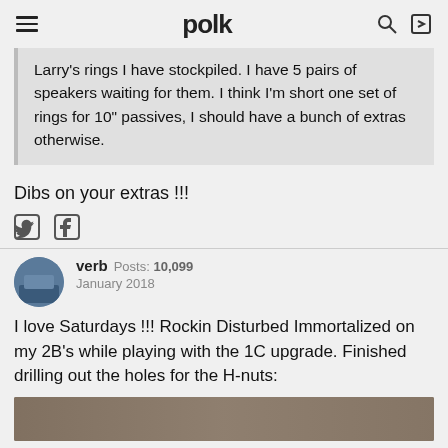polk
Larry's rings I have stockpiled. I have 5 pairs of speakers waiting for them. I think I'm short one set of rings for 10" passives, I should have a bunch of extras otherwise.
Dibs on your extras !!!
[Figure (other): Twitter and Facebook share icons]
verb  Posts: 10,099  January 2018
I love Saturdays !!! Rockin Disturbed Immortalized on my 2B's while playing with the 1C upgrade. Finished drilling out the holes for the H-nuts:
[Figure (photo): Partial photo showing a brown surface, bottom of the post]